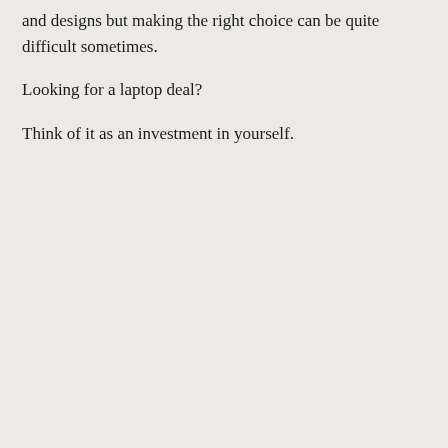and designs but making the right choice can be quite difficult sometimes.
Looking for a laptop deal?
Think of it as an investment in yourself.